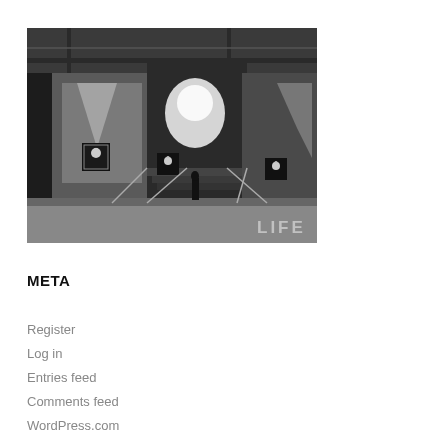[Figure (photo): Black and white photograph of what appears to be a Playboy Club entrance at night, showing the exterior with Playboy bunny logo signs, steps leading to an entrance, and bright lighting. A 'LIFE' watermark is visible in the lower right corner.]
META
Register
Log in
Entries feed
Comments feed
WordPress.com